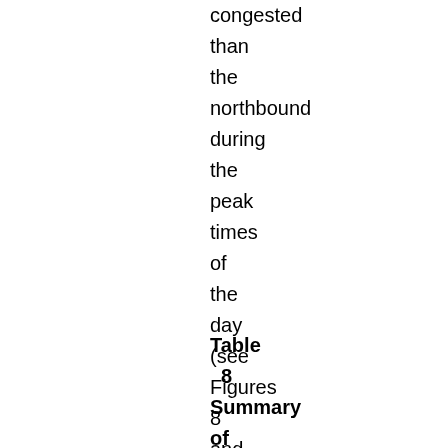congested than the northbound during the peak times of the day (see Figures 8 and 9).
Table 8 Summary of